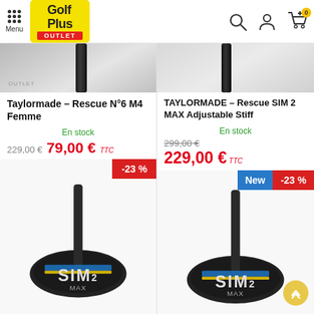Golf Plus Outlet — Menu, search, account, cart
[Figure (photo): Top portion of left product: golf club shaft on grey background, Golf Plus Outlet branding visible]
[Figure (photo): Top portion of right product: dark golf club shaft on light grey background]
Taylormade – Rescue N°6 M4 Femme
TAYLORMADE – Rescue SIM 2 MAX Adjustable Stiff
En stock
229,00 €   79,00 € TTC
En stock
299,00 €  229,00 € TTC
[Figure (photo): Bottom portion: Taylormade SIM2 MAX rescue club head, black with blue/yellow accent, badge -23%]
[Figure (photo): Bottom portion: Taylormade SIM2 MAX rescue club head, black with blue/yellow accent, badges New and -23%]